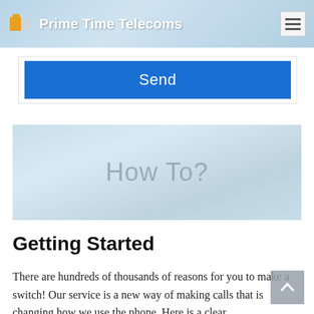Prime Time Telecoms
[Figure (screenshot): Blue Send button on white background, part of a web form]
[Figure (other): Light blue banner with text 'How To?' in grey]
Getting Started
There are hundreds of thousands of reasons for you to make a switch! Our service is a new way of making calls that is changing how we use the phone. Here is a clear